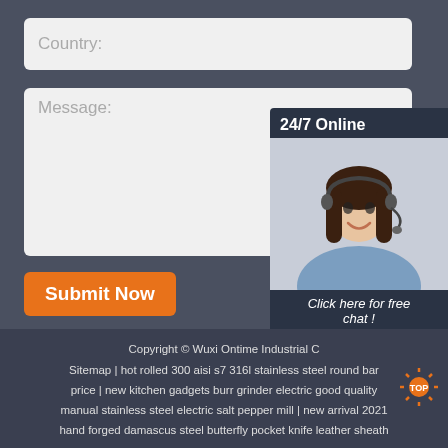Country:
Message:
Submit Now
[Figure (photo): Chat widget with 24/7 Online label, photo of a woman with headset, 'Click here for free chat!' text, and QUOTATION button]
Copyright © Wuxi Ontime Industrial C...
Sitemap | hot rolled 300 aisi s7 316l stainless steel round bar price | new kitchen gadgets burr grinder electric good quality manual stainless steel electric salt pepper mill | new arrival 2021 hand forged damascus steel butterfly pocket knife leather sheath